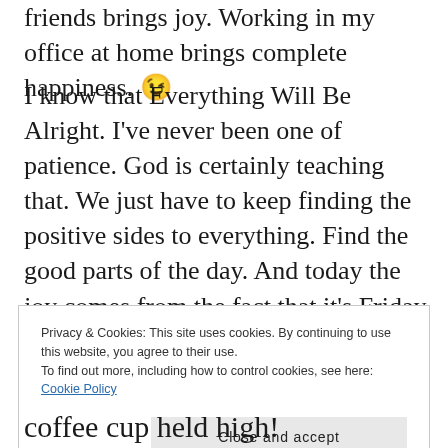friends brings joy. Working in my office at home brings complete happiness. 😉
I know that Everything Will Be Alright. I've never been one of patience. God is certainly teaching that. We just have to keep finding the positive sides to everything. Find the good parts of the day. And today the joy comes from the fact that it's Friday and two whole days to bless our homes and work on things we love to work on.
Privacy & Cookies: This site uses cookies. By continuing to use this website, you agree to their use.
To find out more, including how to control cookies, see here: Cookie Policy
Close and accept
coffee cup held high!